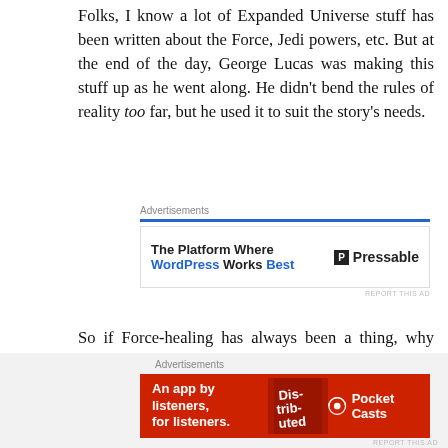Folks, I know a lot of Expanded Universe stuff has been written about the Force, Jedi powers, etc. But at the end of the day, George Lucas was making this stuff up as he went along. He didn't bend the rules of reality too far, but he used it to suit the story's needs.
[Figure (infographic): Advertisement banner for Pressable - The Platform Where WordPress Works Best]
So if Force-healing has always been a thing, why didn't Luke use it to save Vader's life? Why didn't Obi-Wan use it to save Qui-Gon's? I don't know. I just know they didn't. That's enough for me.
[Figure (infographic): Advertisement banner for Pocket Casts - An app by listeners, for listeners.]